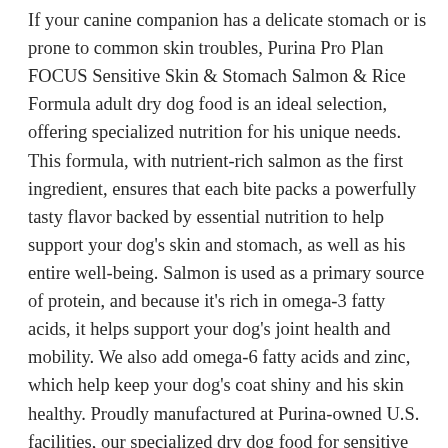If your canine companion has a delicate stomach or is prone to common skin troubles, Purina Pro Plan FOCUS Sensitive Skin & Stomach Salmon & Rice Formula adult dry dog food is an ideal selection, offering specialized nutrition for his unique needs. This formula, with nutrient-rich salmon as the first ingredient, ensures that each bite packs a powerfully tasty flavor backed by essential nutrition to help support your dog's skin and stomach, as well as his entire well-being. Salmon is used as a primary source of protein, and because it's rich in omega-3 fatty acids, it helps support your dog's joint health and mobility. We also add omega-6 fatty acids and zinc, which help keep your dog's coat shiny and his skin healthy. Proudly manufactured at Purina-owned U.S. facilities, our specialized dry dog food for sensitive skin contains nutrients that help keep your loyal companion as healthy as possible. Formulated without corn, wheat, or soy, this dry dog food includes oatmeal and rice as sources of easily digestible carbohydrates for your dog. Our FOCUS platform offers